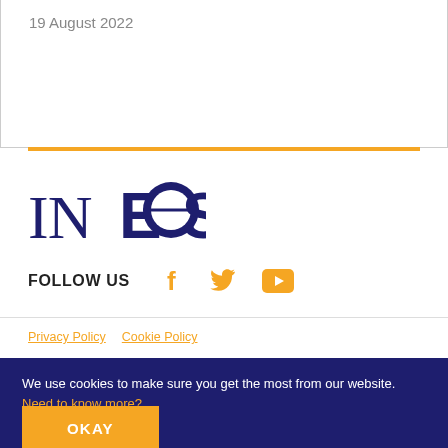19 August 2022
[Figure (logo): INEOS company logo in dark navy blue]
FOLLOW US
[Figure (illustration): Social media icons: Facebook, Twitter, YouTube in orange/gold color]
Privacy Policy   Cookie Policy
We use cookies to make sure you get the most from our website. Need to know more?
OKAY